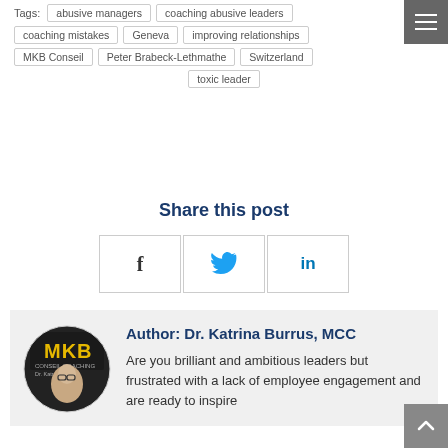Tags: abusive managers | coaching abusive leaders | coaching mistakes | Geneva | improving relationships | MKB Conseil | Peter Brabeck-Lethmathe | Switzerland | toxic leader
Share this post
[Figure (infographic): Three social share buttons in bordered boxes: Facebook (f), Twitter (bird icon), LinkedIn (in)]
[Figure (photo): Circular profile photo of Dr. Katrina Burrus with MKB Conseil Coaching logo overlay]
Author: Dr. Katrina Burrus, MCC
Are you brilliant and ambitious leaders but frustrated with a lack of employee engagement and are ready to inspire